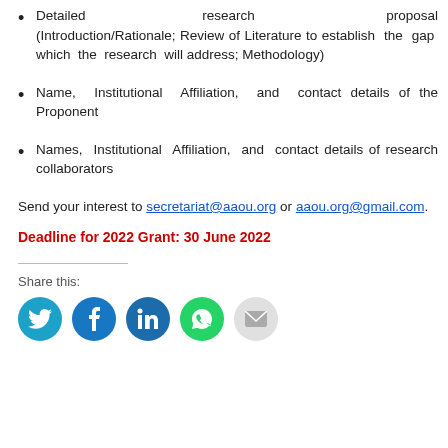Detailed research proposal (Introduction/Rationale; Review of Literature to establish the gap which the research will address; Methodology)
Name, Institutional Affiliation, and contact details of the Proponent
Names, Institutional Affiliation, and contact details of research collaborators
Send your interest to secretariat@aaou.org or aaou.org@gmail.com.
Deadline for 2022 Grant: 30 June 2022
Share this: